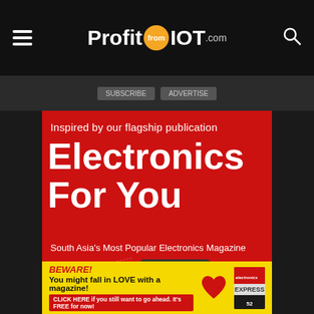[Figure (logo): ProfitFromIOT.com logo with hamburger menu icon on left and search icon on right, white text on dark/black navigation bar]
Inspired by our flagship publication
Electronics For You
South Asia's Most Popular Electronics Magazine
[Figure (illustration): Electronics For You magazine covers shown as physical magazines on a red background, with a yellow promotional banner at the bottom reading: BEWARE! You might fall in LOVE with a magazine! CLICK HERE if you still want to go ahead. It's FREE for now!]